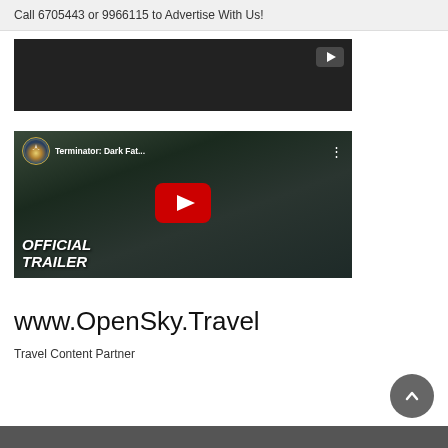Call 6705443 or 9966115 to Advertise With Us!
[Figure (screenshot): Dark video thumbnail with a small YouTube play button in the top-right corner]
[Figure (screenshot): YouTube video thumbnail for 'Terminator: Dark Fat...' with Paramount logo, video title bar, large red YouTube play button, and 'OFFICIAL TRAILER' text overlay]
www.OpenSky.Travel
Travel Content Partner